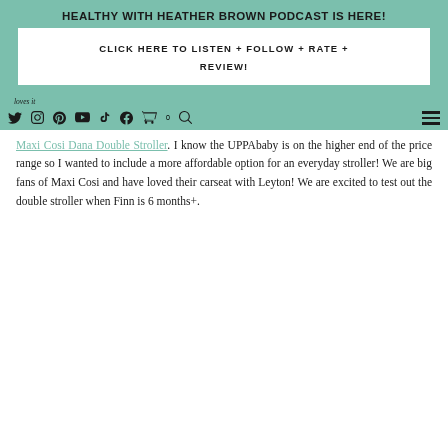HEALTHY WITH HEATHER BROWN PODCAST IS HERE!
CLICK HERE TO LISTEN + FOLLOW + RATE + REVIEW!
loves it [nav icons]
Maxi Cosi Dana Double Stroller. I know the UPPAbaby is on the higher end of the price range so I wanted to include a more affordable option for an everyday stroller! We are big fans of Maxi Cosi and have loved their carseat with Leyton! We are excited to test out the double stroller when Finn is 6 months+.